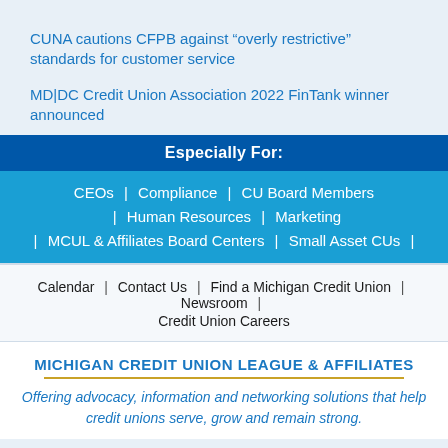CUNA cautions CFPB against “overly restrictive” standards for customer service
MD|DC Credit Union Association 2022 FinTank winner announced
Especially For:
CEOs | Compliance | CU Board Members | Human Resources | Marketing | MCUL & Affiliates Board Centers | Small Asset CUs |
Calendar | Contact Us | Find a Michigan Credit Union | Newsroom | Credit Union Careers
MICHIGAN CREDIT UNION LEAGUE & AFFILIATES
Offering advocacy, information and networking solutions that help credit unions serve, grow and remain strong.